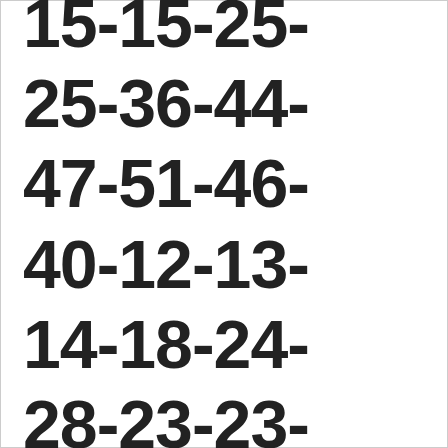15-15-25-25-36-44-47-51-46-40-12-13-14-18-24-28-23-23-